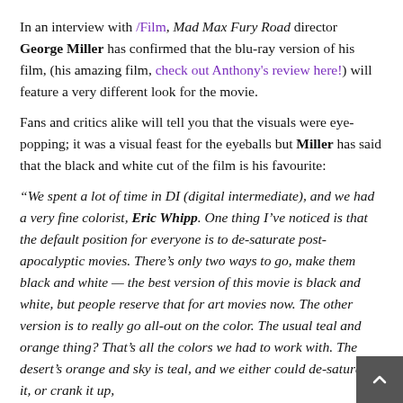In an interview with /Film, Mad Max Fury Road director George Miller has confirmed that the blu-ray version of his film, (his amazing film, check out Anthony's review here!) will feature a very different look for the movie.

Fans and critics alike will tell you that the visuals were eye-popping; it was a visual feast for the eyeballs but Miller has said that the black and white cut of the film is his favourite:

“We spent a lot of time in DI (digital intermediate), and we had a very fine colorist, Eric Whipp. One thing I’ve noticed is that the default position for everyone is to de-saturate post-apocalyptic movies. There’s only two ways to go, make them black and white — the best version of this movie is black and white, but people reserve that for art movies now. The other version is to really go all-out on the color. The usual teal and orange thing? That’s all the colors we had to work with. The desert’s orange and sky is teal, and we either could de-saturate it, or crank it up, differentiate the movie. Plus, it can get really tiring watching this